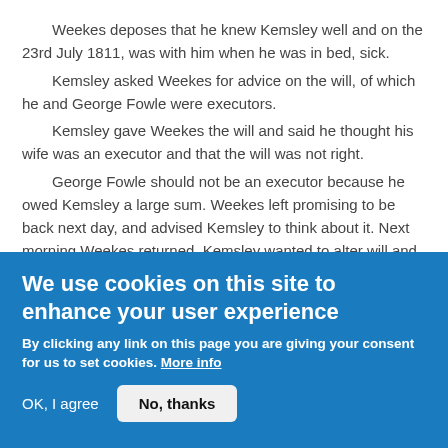Weekes deposes that he knew Kemsley well and on the 23rd July 1811, was with him when he was in bed, sick.
Kemsley asked Weekes for advice on the will, of which he and George Fowle were executors.
Kemsley gave Weekes the will and said he thought his wife was an executor and that the will was not right.
George Fowle should not be an executor because he owed Kemsley a large sum. Weekes left promising to be back next day, and advised Kemsley to think about it. Next morning Weekes returned, Kemsley wanted to alter will and make his wife executor in Fowle's place. Weekes asked him if he knew what he had left his son Robert, saying he would be sorry to see any of Kemsley's children
We use cookies on this site to enhance your user experience
By clicking any link on this page you are giving your consent for us to set cookies. More info
OK, I agree
No, thanks